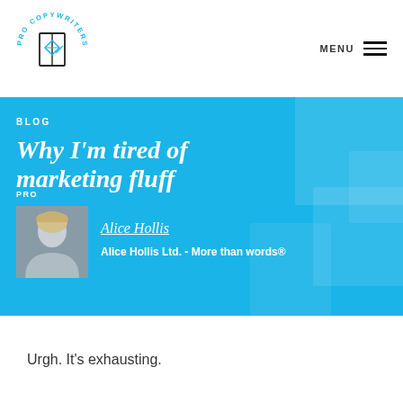ProCopywriters — MENU
BLOG
Why I'm tired of marketing fluff
PRO
Alice Hollis
Alice Hollis Ltd. - More than words®
Urgh. It's exhausting.
Because I want to...